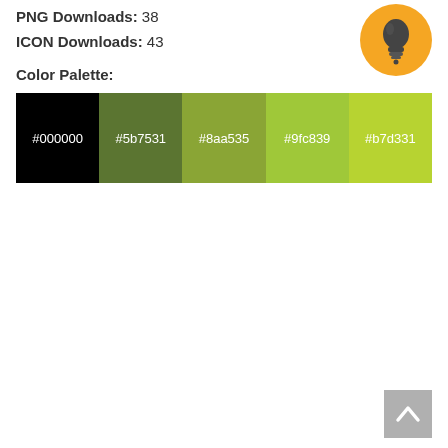PNG Downloads: 38
ICON Downloads: 43
[Figure (illustration): Orange circular lightbulb icon in top-right area]
Color Palette:
[Figure (infographic): Color palette swatches: #000000 (black), #5b7531 (dark green), #8aa535 (medium green), #9fc839 (light green), #b7d331 (yellow-green)]
[Figure (illustration): Back to top button — grey square with upward chevron arrow]